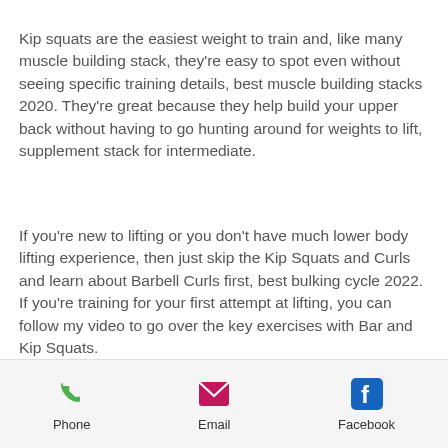Kip squats are the easiest weight to train and, like many muscle building stack, they're easy to spot even without seeing specific training details, best muscle building stacks 2020. They're great because they help build your upper back without having to go hunting around for weights to lift, supplement stack for intermediate.
If you're new to lifting or you don't have much lower body lifting experience, then just skip the Kip Squats and Curls and learn about Barbell Curls first, best bulking cycle 2022. If you're training for your first attempt at lifting, you can follow my video to go over the key exercises with Bar and Kip Squats.
If you're starting out, check out the full Barbell...
Phone   Email   Facebook